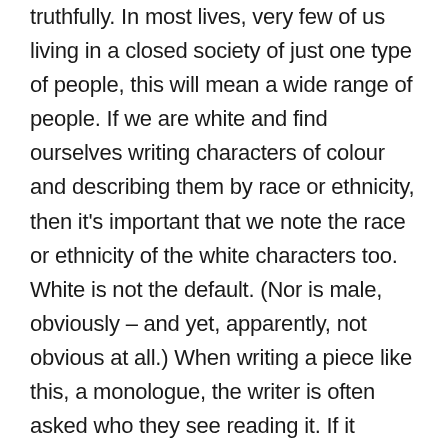truthfully. In most lives, very few of us living in a closed society of just one type of people, this will mean a wide range of people. If we are white and find ourselves writing characters of colour and describing them by race or ethnicity, then it’s important that we note the race or ethnicity of the white characters too. White is not the default. (Nor is male, obviously – and yet, apparently, not obvious at all.) When writing a piece like this, a monologue, the writer is often asked who they see reading it. If it doesn’t matter to the plot who reads it, then we can choose to cast beyond ourselves – beyond our own gender, ethnicity, ability, sexuality, class. This way the writing becomes bigger, further from the writer, more able to stand for other people, more able to include more of us.